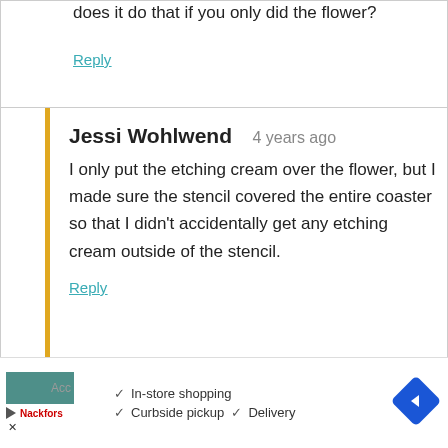does it do that if you only did the flower?
Reply
Jessi Wohlwend   4 years ago
I only put the etching cream over the flower, but I made sure the stencil covered the entire coaster so that I didn’t accidentally get any etching cream outside of the stencil.
Reply
This website uses cookies to improve your experience on the site by remembering your preferences if you visit often. We never sell your information or use your email address for anything other than user login or our newsletter (if you sign up for it).
[Figure (screenshot): Advertisement banner showing in-store shopping, curbside pickup, and delivery options with a navigation arrow icon]